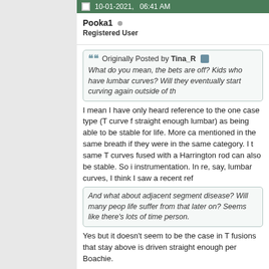10-01-2021, 06:41 AM
Pooka1 ○
Registered User
Originally Posted by Tina_R
What do you mean, the bets are off? Kids who have lumbar curves? Will they eventually start curving again outside of th...
I mean I have only heard reference to the one case type (T curve f... straight enough lumbar) as being able to be stable for life. More ca... mentioned in the same breath if they were in the same category. I t... same T curves fused with a Harrington rod can also be stable. So i... instrumentation. In re, say, lumbar curves, I think I saw a recent ref...
And what about adjacent segment disease? Will many peop... life suffer from that later on? Seems like there's lots of time... person.
Yes but it doesn't seem to be the case in T fusions that stay above... is driven straight enough per Boachie.
It seems to me that the adults who have AIS (as opposed to degen... lumbar I think) who need treatment as adults had sub-surgical or s... younger. It took a while to progress to surgical territory. My twins re... with one having the highest progression rate compared to other ca...